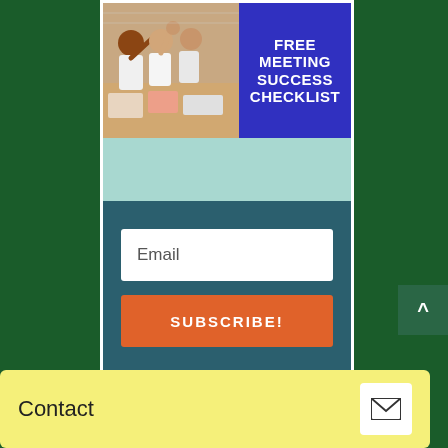[Figure (photo): Photo of students high-fiving at a table and blue banner with text FREE MEETING SUCCESS CHECKLIST forming a composite promotional image]
Email
SUBSCRIBE!
Contact